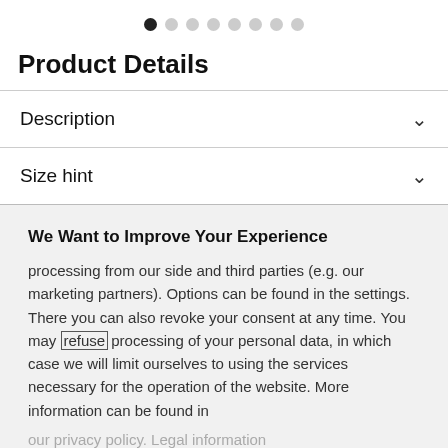[Figure (other): Pagination dots indicator: 8 dots in a row, first dot filled/active, rest gray]
Product Details
Description
Size hint
We Want to Improve Your Experience
processing from our side and third parties (e.g. our marketing partners). Options can be found in the settings. There you can also revoke your consent at any time. You may refuse processing of your personal data, in which case we will limit ourselves to using the services necessary for the operation of the website. More information can be found in our privacy policy. Legal information
Settings